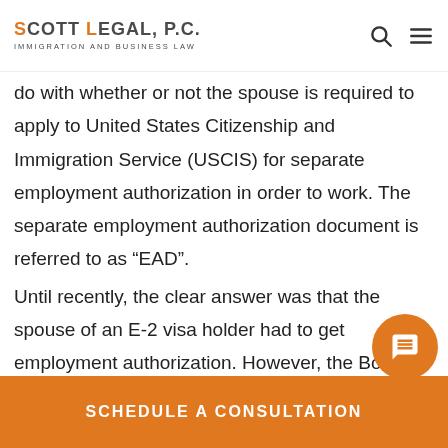SCOTT LEGAL, P.C. IMMIGRATION AND BUSINESS LAW
do with whether or not the spouse is required to apply to United States Citizenship and Immigration Service (USCIS) for separate employment authorization in order to work. The separate employment authorization document is referred to as “EAD”.

Until recently, the clear answer was that the spouse of an E-2 visa holder had to get employment authorization. However, the Board of Immigration Appeals (BIA) recent
SCHEDULE A CONSULTATION